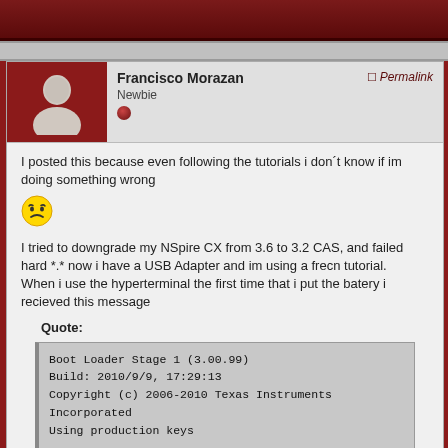Forum page header
Francisco Morazan
Newbie
Permalink
I posted this because even following the tutorials i don´t know if im doing something wrong
[Figure (illustration): Angry yellow emoji face]
I tried to downgrade my NSpire CX from 3.6 to 3.2 CAS, and failed hard *.* now i have a USB Adapter and im using a frecn tutorial.
When i use the hyperterminal the first time that i put the batery i recieved this message
Quote:
Boot Loader Stage 1 (3.00.99)
Build: 2010/9/9, 17:29:13
Copyright (c) 2006-2010 Texas Instruments Incorporated
Using production keys

Last boot progress: 65

Available system memory: 33196
Checking for NAND: NAND Flash ID: Generic 1 GBit (0xA1)
SDRAM size: 64 MB
Turning device off